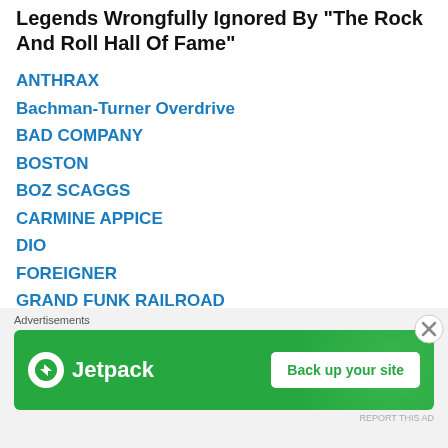Legends Wrongfully Ignored By "The Rock And Roll Hall Of Fame"
ANTHRAX
Bachman-Turner Overdrive
BAD COMPANY
BOSTON
BOZ SCAGGS
CARMINE APPICE
DIO
FOREIGNER
GRAND FUNK RAILROAD
HELLOWEEN
IRON MAIDEN
JOE SATRIANI
JUDAS PRIEST
KANSAS
[Figure (other): Jetpack advertisement banner with 'Back up your site' button on green background]